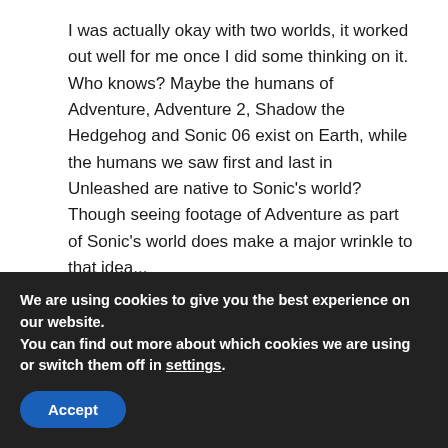I was actually okay with two worlds, it worked out well for me once I did some thinking on it. Who knows? Maybe the humans of Adventure, Adventure 2, Shadow the Hedgehog and Sonic 06 exist on Earth, while the humans we saw first and last in Unleashed are native to Sonic's world? Though seeing footage of Adventure as part of Sonic's world does make a major wrinkle to that idea...
I too enjoyed the video though, had a lot of nice
We are using cookies to give you the best experience on our website.
You can find out more about which cookies we are using or switch them off in settings.
Accept